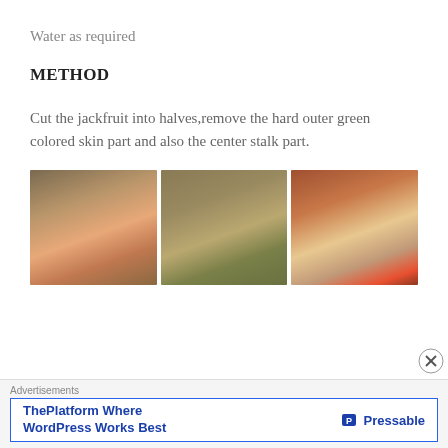Water as required
METHOD
Cut the jackfruit into halves,remove the hard outer green colored skin part and also the center stalk part.
[Figure (photo): Three photos showing jackfruit preparation: first photo shows jackfruit cut in half on a white plate revealing reddish-orange interior; second photo shows jackfruit halves with green skin; third photo shows someone using a knife to remove the center stalk.]
Advertisements
ThePlatform Where WordPress Works Best — Pressable